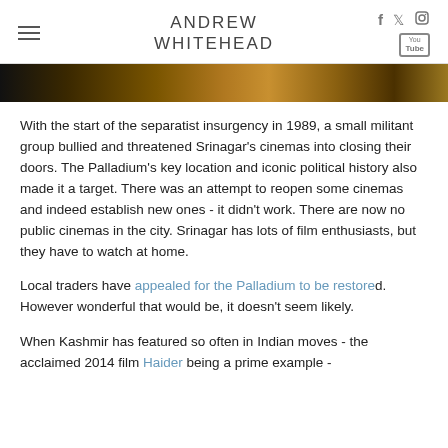ANDREW WHITEHEAD
[Figure (photo): A partial image strip showing a crowd or scene, cropped at the top of the content area]
With the start of the separatist insurgency in 1989, a small militant group bullied and threatened Srinagar's cinemas into closing their doors. The Palladium's key location and iconic political history also made it a target. There was an attempt to reopen some cinemas and indeed establish new ones - it didn't work. There are now no public cinemas in the city. Srinagar has lots of film enthusiasts, but they have to watch at home.
Local traders have appealed for the Palladium to be restored. However wonderful that would be, it doesn't seem likely.
When Kashmir has featured so often in Indian moves - the acclaimed 2014 film Haider being a prime example -